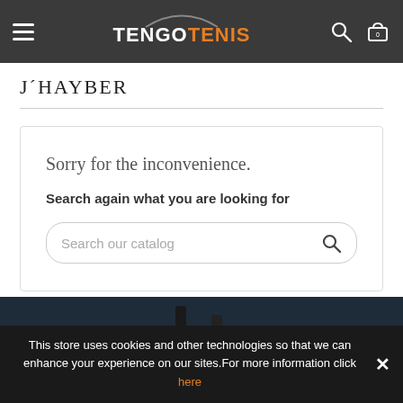TENGOTENIS navigation header with hamburger menu, logo, search icon, and cart icon
J´HAYBER
Sorry for the inconvenience.
Search again what you are looking for
Search our catalog
[Figure (screenshot): Tennis court background image showing player's legs/feet on court]
This store uses cookies and other technologies so that we can enhance your experience on our sites.For more information click here